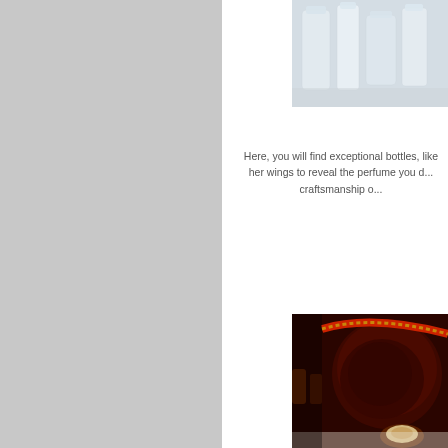[Figure (photo): Partial view of clear/glass perfume bottles displayed on a light surface, cropped at top]
Here, you will find exceptional bottles, like her wings to reveal the perfume you c... craftsmanship o...
[Figure (photo): Close-up of dark red/maroon decorative perfume bottle with ornate gold-beaded trim and velvet texture, with smaller amber bottles visible in background]